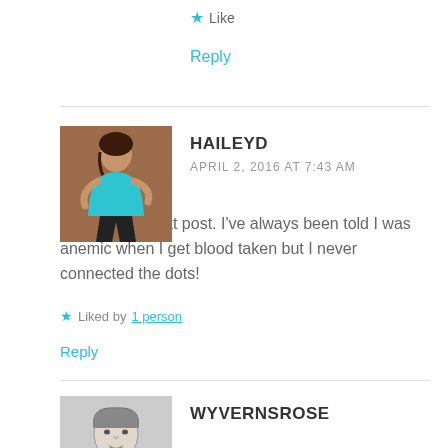★ Like
Reply
HAILEYD
APRIL 2, 2016 AT 7:43 AM
This was a great post. I've always been told I was anemic when I get blood taken but I never connected the dots!
★ Liked by 1 person
Reply
WYVERNSROSE